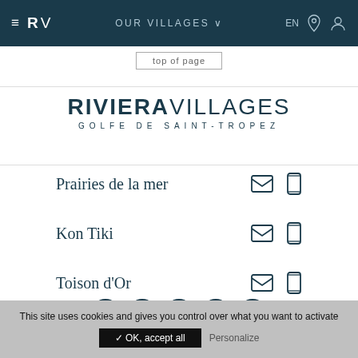≡ RV   OUR VILLAGES ∨   EN ⊙ 👤
top of page
[Figure (logo): Riviera Villages - Golfe de Saint-Tropez logo]
Prairies de la mer
Kon Tiki
Toison d'Or
[Figure (infographic): Social media icons row: Facebook, YouTube, Instagram, LinkedIn, Pinterest]
This site uses cookies and gives you control over what you want to activate   ✓ OK, accept all   Personalize